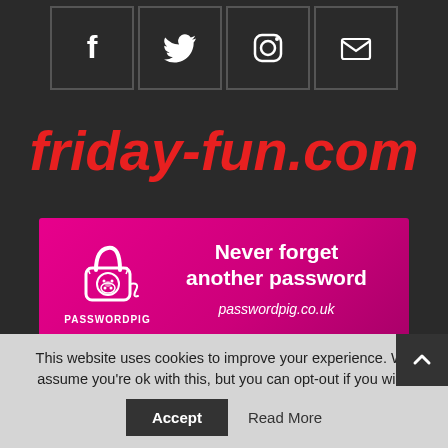[Figure (other): Social media icon bar with Facebook, Twitter, Instagram, and Email icons in outlined boxes on dark background]
friday-fun.com
[Figure (infographic): Advertisement banner for PasswordPig with pink/magenta background, pig padlock logo, text 'Never forget another password', URL passwordpig.co.uk]
This website uses cookies to improve your experience. We assume you're ok with this, but you can opt-out if you wish.
Accept   Read More